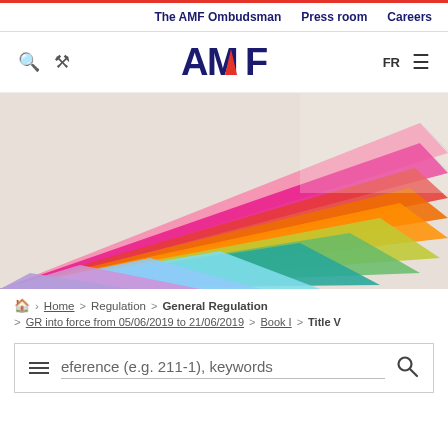The AMF Ombudsman  Press room  Careers
[Figure (logo): AMF logo with stylized M in red and blue]
[Figure (photo): Fan of colorful folders/booklets spread out, pink, green, blue, purple, orange colors]
Home > Regulation > General Regulation > GR into force from 05/06/2019 to 21/06/2019 > Book I > Title V
eference (e.g. 211-1), keywords